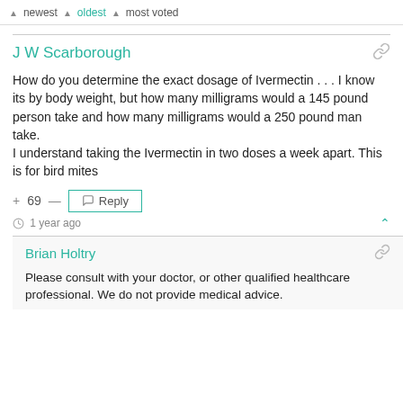▲ newest  ▲ oldest  ▲ most voted
J W Scarborough
How do you determine the exact dosage of Ivermectin . . . I know its by body weight, but how many milligrams would a 145 pound person take and how many milligrams would a 250 pound man take.
I understand taking the Ivermectin in two doses a week apart. This is for bird mites
+ 69 —  Reply  1 year ago
Brian Holtry
Please consult with your doctor, or other qualified healthcare professional. We do not provide medical advice.